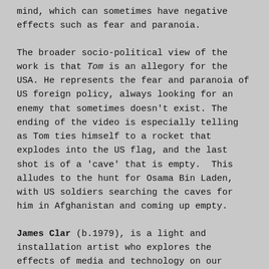mind, which can sometimes have negative effects such as fear and paranoia.
The broader socio-political view of the work is that Tom is an allegory for the USA. He represents the fear and paranoia of US foreign policy, always looking for an enemy that sometimes doesn't exist. The ending of the video is especially telling as Tom ties himself to a rocket that explodes into the US flag, and the last shot is of a 'cave' that is empty.  This alludes to the hunt for Osama Bin Laden, with US soldiers searching the caves for him in Afghanistan and coming up empty.
James Clar (b.1979), is a light and installation artist who explores the effects of media and technology on our perceptions of culture and identity. His interest is in new technology and production processes, using them as a medium, while analysing and critiquing their modifying affects on human behavior.  Solo exhibitions include Data Packets, Galeria Senda, Barcelona